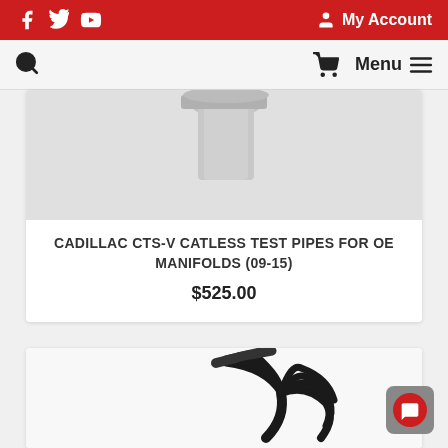Social media icons (Facebook, Twitter, YouTube) | My Account | Search | Cart | Menu
[Figure (photo): Product image of Cadillac CTS-V catless test pipes, silver/chrome pipes on white background (partially visible, cropped at top)]
CADILLAC CTS-V CATLESS TEST PIPES FOR OE MANIFOLDS (09-15)
$525.00
[Figure (photo): Product image of black exhaust headers/manifold pipes against white background (partially visible)]